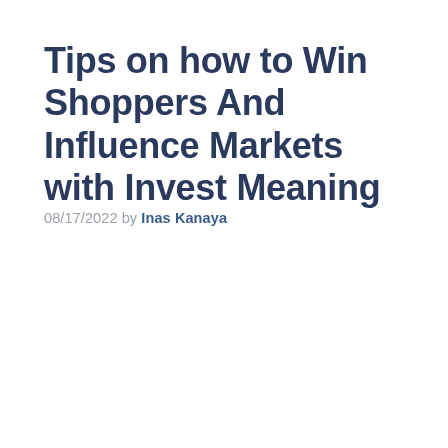Tips on how to Win Shoppers And Influence Markets with Invest Meaning
08/17/2022 by Inas Kanaya